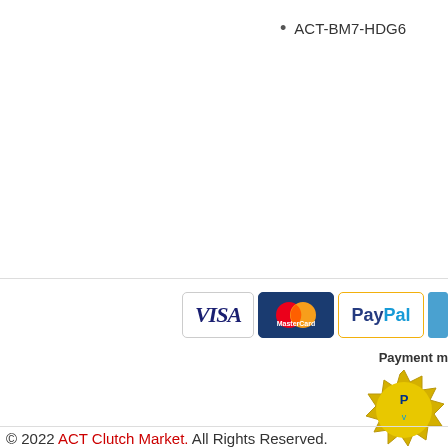ACT-BM7-HDG6
[Figure (other): Payment method icons: VISA, MasterCard, PayPal, and a partial fourth card icon]
Payment m
[Figure (other): PayPal verified badge seal in gold/yellow]
© 2022 ACT Clutch Market. All Rights Reserved.